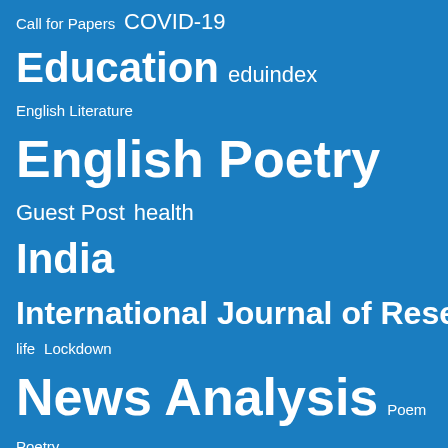[Figure (infographic): Tag cloud on blue background with terms: Call for Papers, COVID-19, Education, eduindex, English Literature, English Poetry, Guest Post, health, India, International Journal of Research, life, Lockdown, News Analysis, Poem, Poetry, Research-Paper, Social Studies, space, technology, tourism, Urban and Regional Planning, world]
CATEGORIES
#marketing
Architecture and Design
Art and Culture
Book Reviews
Business and Management